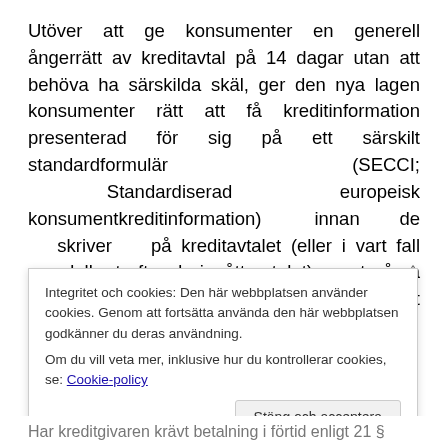Utöver att ge konsumenter en generell ångerrätt av kreditavtal på 14 dagar utan att behöva ha särskilda skäl, ger den nya lagen konsumenter rätt att få kreditinformation presenterad för sig på ett särskilt standardformulär (SECCI; Standardiserad europeisk konsumentkreditinformation) innan de skriver på kreditavtalet (eller i vart fall omedelbart efter de ingått avtalet), samt några andra mindre ändringar, såsom att formkravet slopas till förmån för ett dokumentationskrav.
Integritet och cookies: Den här webbplatsen använder cookies. Genom att fortsätta använda den här webbplatsen godkänner du deras användning.
Om du vill veta mer, inklusive hur du kontrollerar cookies, se: Cookie-policy
Stäng och acceptera
Har kreditgivaren krävt betalning i förtid enligt 21 §